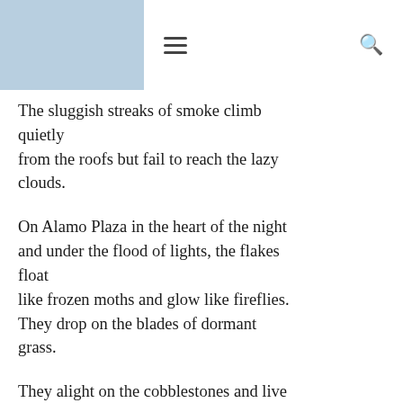≡  🔍
The sluggish streaks of smoke climb quietly
from the roofs but fail to reach the lazy clouds.
On Alamo Plaza in the heart of the night and under the flood of lights, the flakes float
like frozen moths and glow like fireflies. They drop on the blades of dormant grass.
They alight on the cobblestones and live awhile
in silence, they dissolve before dawn.